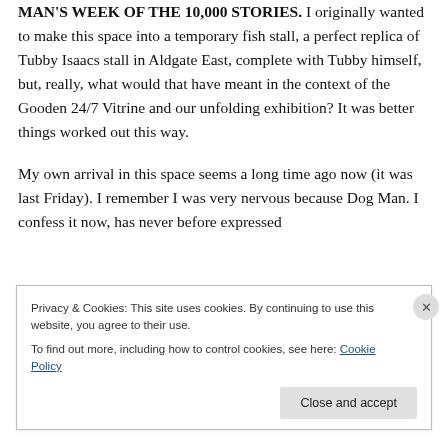MAN'S WEEK OF THE 10,000 STORIES. I originally wanted to make this space into a temporary fish stall, a perfect replica of Tubby Isaacs stall in Aldgate East, complete with Tubby himself, but, really, what would that have meant in the context of the Gooden 24/7 Vitrine and our unfolding exhibition? It was better things worked out this way.
My own arrival in this space seems a long time ago now (it was last Friday). I remember I was very nervous because Dog Man. I confess it now, has never before expressed
Privacy & Cookies: This site uses cookies. By continuing to use this website, you agree to their use.
To find out more, including how to control cookies, see here: Cookie Policy